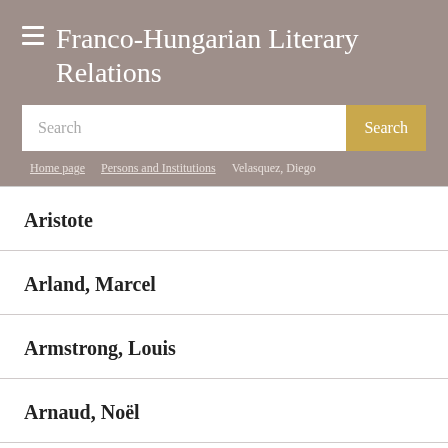Franco-Hungarian Literary Relations
Search
Home page / Persons and Institutions / Velasquez, Diego
Aristote
Arland, Marcel
Armstrong, Louis
Arnaud, Noël